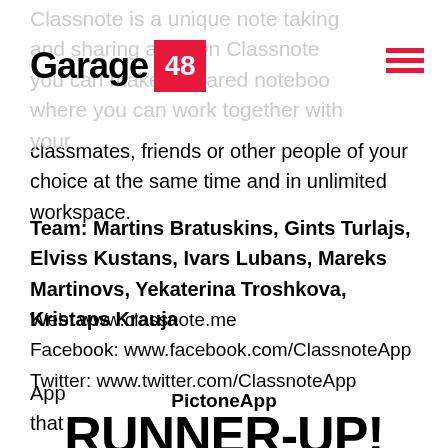Garage 48
Classnote is a unique note taking and sharing app. On Classnote you can make a shared notebook where you can work together with your classmates, friends or other people of your choice at the same time and in unlimited workspace.
Team: Martins Bratuskins, Gints Turlajs, Elviss Kustans, Ivars Lubans, Mareks Martinovs, Yekaterina Troshkova, Kristaps Krauja
Web: www.classnote.me
Facebook: www.facebook.com/ClassnoteApp
Twitter: www.twitter.com/ClassnoteApp
PictoneApp
RUNNER-UP!
App
that